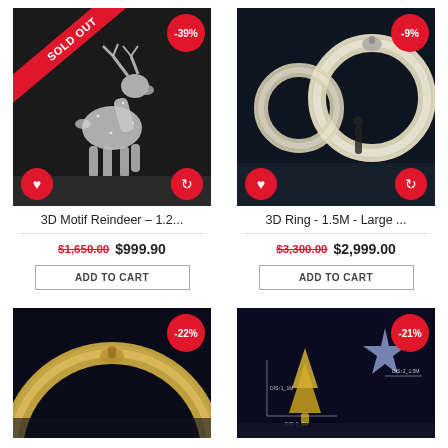[Figure (photo): 3D Motif Reindeer light decoration, silver/white LED reindeer figure on dark background, with SOLD OUT red diagonal banner and -39% discount badge. Heart and refresh icon buttons at bottom.]
[Figure (photo): 3D Ring large illuminated circular decoration, two glowing rings at night outdoor event, with -9% discount badge. Heart and refresh icon buttons at bottom.]
3D Motif Reindeer – 1.2...
3D Ring - 1.5M - Large ...
$1,650.00 $999.90
$3,300.00 $2,999.00
ADD TO CART
ADD TO CART
[Figure (photo): 3D Ring decoration (gold/warm white) partial view, dark background, with -22% discount badge.]
[Figure (photo): Star and tree light motif display with dimension labels, dark background, with -21% discount badge.]